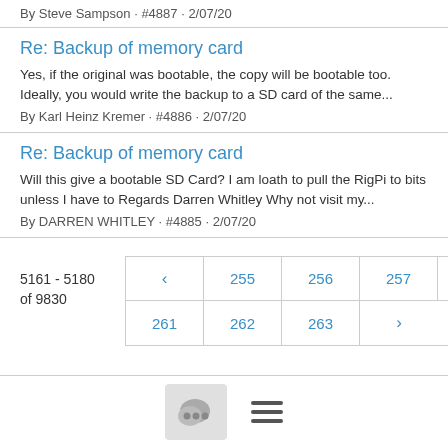By Steve Sampson · #4887 · 2/07/20
Re: Backup of memory card
Yes, if the original was bootable, the copy will be bootable too. Ideally, you would write the backup to a SD card of the same...
By Karl Heinz Kremer · #4886 · 2/07/20
Re: Backup of memory card
Will this give a bootable SD Card? I am loath to pull the RigPi to bits unless I have to Regards Darren Whitley Why not visit my...
By DARREN WHITLEY · #4885 · 2/07/20
5161 - 5180 of 9830
[Figure (other): Pagination control with page numbers 255-263 and navigation arrows. Page 259 is currently active/bold.]
[Figure (other): Footer bar with chat bubble icon button and hamburger menu icon]